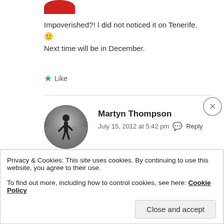[Figure (photo): Partial red circular avatar at top]
Impoverished?! I did not noticed it on Tenerife. 🙂 Next time will be in December.
★ Like
[Figure (photo): Black and white circular avatar photo showing a silhouette of a person on a beach]
Martyn Thompson
July 15, 2012 at 5:42 pm  💬 Reply
Check the news 🙂
Privacy & Cookies: This site uses cookies. By continuing to use this website, you agree to their use.
To find out more, including how to control cookies, see here: Cookie Policy
Close and accept